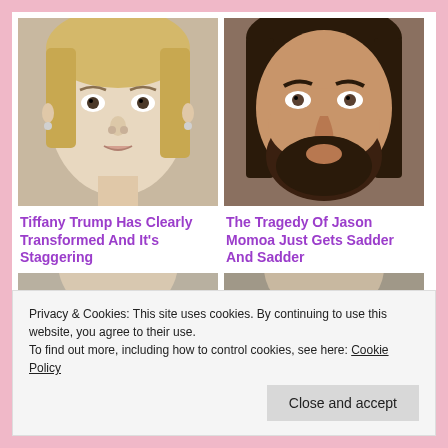[Figure (photo): Close-up photo of a young blonde woman (Tiffany Trump)]
[Figure (photo): Close-up photo of a man with long dark hair and beard (Jason Momoa)]
Tiffany Trump Has Clearly Transformed And It's Staggering
The Tragedy Of Jason Momoa Just Gets Sadder And Sadder
[Figure (photo): Partial photo of a person (bottom row left)]
[Figure (photo): Partial photo of a person (bottom row right)]
Privacy & Cookies: This site uses cookies. By continuing to use this website, you agree to their use.
To find out more, including how to control cookies, see here: Cookie Policy
Close and accept